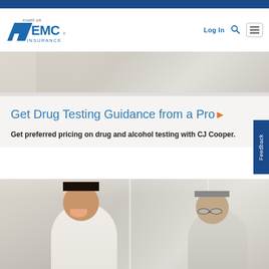EMC Insurance - count on EMC Insurance
[Figure (photo): Blurred background image of desk/documents at top of page]
Get Drug Testing Guidance from a Pro
Get preferred pricing on drug and alcohol testing with CJ Cooper.
[Figure (photo): Photo of two men in conversation, one younger smiling man and one older man with glasses]